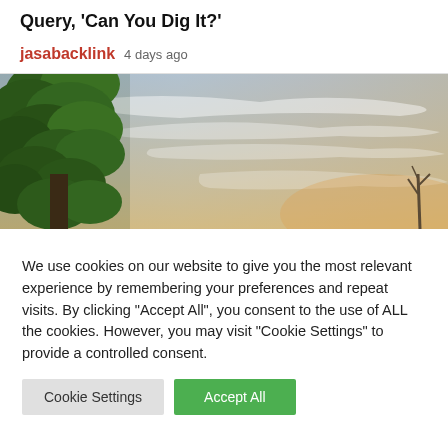Query, 'Can You Dig It?'
jasabacklink  4 days ago
[Figure (photo): Outdoor landscape photo showing a tree on the left side with green foliage and a wide sky with soft clouds and warm sunset hues on the right]
We use cookies on our website to give you the most relevant experience by remembering your preferences and repeat visits. By clicking “Accept All”, you consent to the use of ALL the cookies. However, you may visit "Cookie Settings" to provide a controlled consent.
Cookie Settings  Accept All